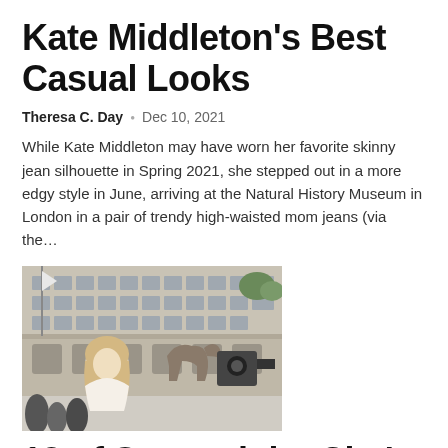Kate Middleton’s Best Casual Looks
Theresa C. Day • Dec 10, 2021
While Kate Middleton may have worn her favorite skinny jean silhouette in Spring 2021, she stepped out in a more edgy style in June, arriving at the Natural History Museum in London in a pair of trendy high-waisted mom jeans (via the…
[Figure (photo): A woman with long blonde hair stands in front of a large ornate building, with a horse and camera equipment visible in the background.]
13 of Sex and the City’s most iconic Carrie Bradshaw outfits